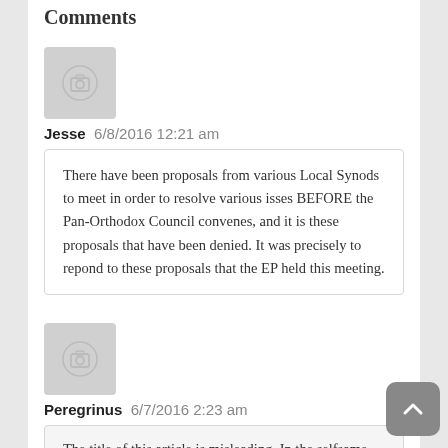Comments
[Figure (illustration): User avatar placeholder with camera icon for Jesse]
Jesse  6/8/2016 12:21 am
There have been proposals from various Local Synods to meet in order to resolve various isses BEFORE the Pan-Orthodox Council convenes, and it is these proposals that have been denied. It was precisely to repond to these proposals that the EP held this meeting.
[Figure (illustration): User avatar placeholder with camera icon for Peregrinus]
Peregrinus  6/7/2016 2:23 am
The title of this article is misleading. In the selfsame communique the EP asks the dissenting churches to